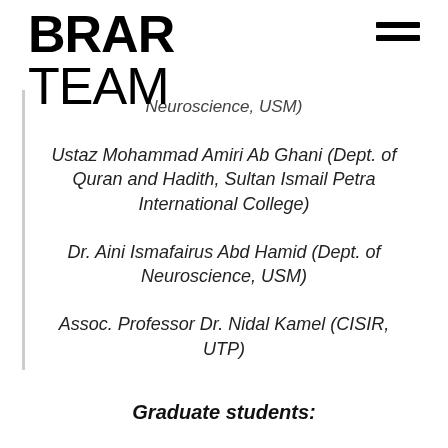BRAR TEAM
Neuroscience, USM)
Ustaz Mohammad Amiri Ab Ghani (Dept. of Quran and Hadith, Sultan Ismail Petra International College)
Dr. Aini Ismafairus Abd Hamid (Dept. of Neuroscience, USM)
Assoc. Professor Dr. Nidal Kamel (CISIR, UTP)
Graduate students:
Nur Syairah Ab Rani (Research Mode: PhD)
To study the emanation of frontalmental theta